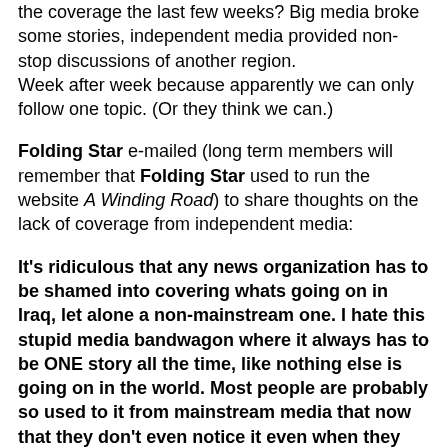the coverage the last few weeks? Big media broke some stories, independent media provided non-stop discussions of another region. Week after week because apparently we can only follow one topic. (Or they think we can.)
Folding Star e-mailed (long term members will remember that Folding Star used to run the website A Winding Road) to share thoughts on the lack of coverage from independent media:
It's ridiculous that any news organization has to be shamed into covering whats going on in Iraq, let alone a non-mainstream one. I hate this stupid media bandwagon where it always has to be ONE story all the time, like nothing else is going on in the world. Most people are probably so used to it from mainstream media that now that they don't even notice it even when they see it from the left, which is a big problem. With things detioriating in Iraq on a daily basis (as the report you mention from Cockburn clearly should be indicating to the media) they're treating Iraq like it's